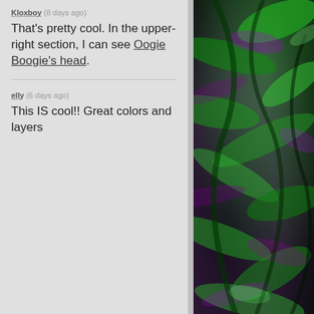Kloxboy (8 days ago)
That's pretty cool. In the upper-right section, I can see Oogie Boogie's head.
elly (6 days ago)
This IS cool!! Great colors and layers
[Figure (illustration): A digital artwork with swirling green and purple layered colors, resembling organic or abstract shapes with dark background.]